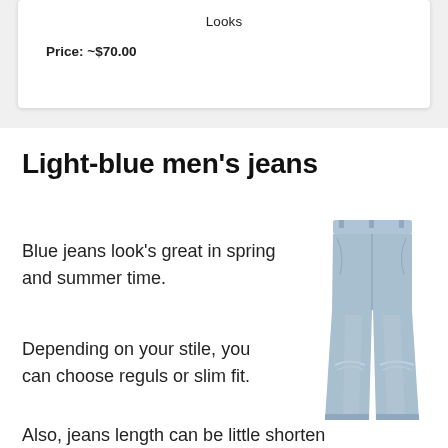Looks
Price: ~$70.00
Light-blue men's jeans
Blue jeans look's great in spring and summer time.
[Figure (photo): Light-blue slim-fit men's jeans shown from the front, standalone product photo]
Depending on your stile, you can choose reguls or slim fit.
Also, jeans length can be little shorten